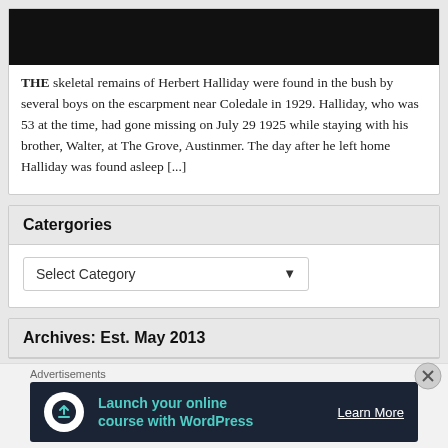[Figure (photo): Dark/black image, appears to be a photograph with dark tones]
THE skeletal remains of Herbert Halliday were found in the bush by several boys on the escarpment near Coledale in 1929. Halliday, who was 53 at the time, had gone missing on July 29 1925 while staying with his brother, Walter, at The Grove, Austinmer. The day after he left home Halliday was found asleep [...]
Catergories
Select Category
Archives: Est. May 2013
Advertisements
Launch your online course with WordPress
Learn More